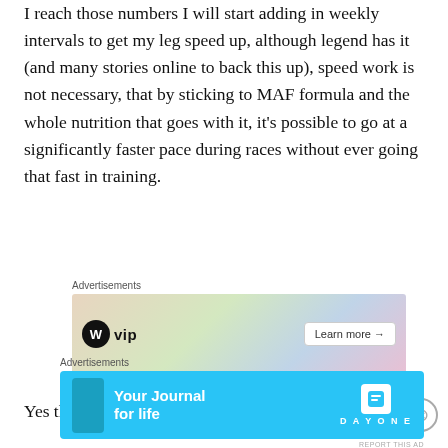I reach those numbers I will start adding in weekly intervals to get my leg speed up, although legend has it (and many stories online to back this up), speed work is not necessary, that by sticking to MAF formula and the whole nutrition that goes with it, it's possible to go at a significantly faster pace during races without ever going that fast in training.
Advertisements
[Figure (screenshot): WP VIP advertisement banner with colorful background showing logos and a Learn more arrow button]
REPORT THIS AD
Yes the numbers are all a bit confusing, but in my
Advertisements
[Figure (screenshot): Day One app advertisement banner - Your Journal for life - in blue color]